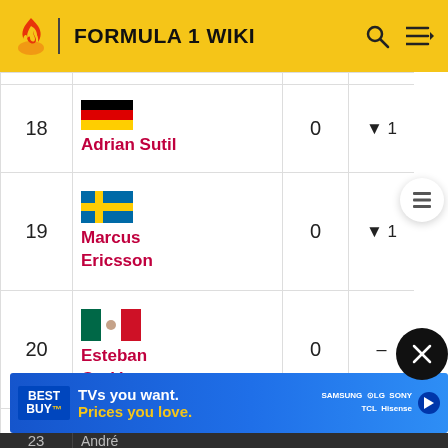FORMULA 1 WIKI
| Pos | Driver | PTS | Change |
| --- | --- | --- | --- |
| 18 | Adrian Sutil | 0 | ▼1 |
| 19 | Marcus Ericsson | 0 | ▼1 |
| 20 | Esteban Gutiérrez | 0 | – |
| 21 | Max Chilton | 0 | – |
| 22 | Kamui | 0 | – |
| 23 | André | 0 | – |
[Figure (other): Best Buy advertisement banner: TVs you want. Prices you love. Samsung, LG, Sony, TCL, Hisense.]